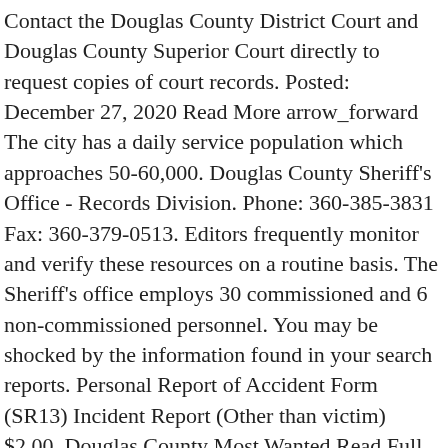Contact the Douglas County District Court and Douglas County Superior Court directly to request copies of court records. Posted: December 27, 2020 Read More arrow_forward The city has a daily service population which approaches 50-60,000. Douglas County Sheriff's Office - Records Division. Phone: 360-385-3831 Fax: 360-379-0513. Editors frequently monitor and verify these resources on a routine basis. The Sheriff's office employs 30 commissioned and 6 non-commissioned personnel. You may be shocked by the information found in your search reports. Personal Report of Accident Form (SR13) Incident Report (Other than victim) $2.00. Douglas County Most Wanted Read Full Article [12/30/20] Police Blotter. Step 4) Complete your transaction to finish your request. Perform a free Douglas County, WA public police records search, including police reports, logs, notes, blotters, bookings, and mugshots. Douglas County Pistol Permits & Gun Licenses, Douglas County Sheriff's Office Sex Offender Search, How to perform a Douglas County background check, Which public records are available from Douglas County Police Departments. Thu & Friday 9 a.m. to 4 p.m. Closed for Lunch 12-1 medics or fire Department